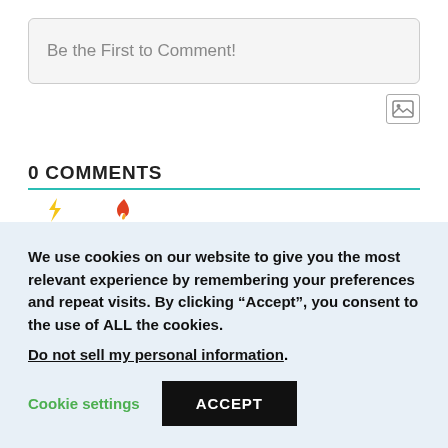Be the First to Comment!
[Figure (other): Image upload icon button]
0 COMMENTS
[Figure (other): Sort tabs with bolt icon (newest) and fire icon (hottest), with colored underlines]
We use cookies on our website to give you the most relevant experience by remembering your preferences and repeat visits. By clicking “Accept”, you consent to the use of ALL the cookies.
Do not sell my personal information.
Cookie settings
ACCEPT